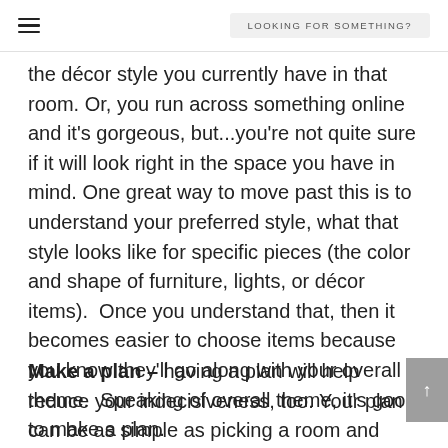LOOKING FOR SOMETHING?
the décor style you currently have in that room. Or, you run across something online and it's gorgeous, but...you're not quite sure if it will look right in the space you have in mind. One great way to move past this is to understand your preferred style, what that style looks like for specific pieces (the color and shape of furniture, lights, or décor items).  Once you understand that, then it becomes easier to choose items because you know they'll go along with your overall theme.  Speaking of overall theme, it's good to make a plan.
Make a plan – having a plan will help reduce your indecisiveness, too. Your plan can be as simple as picking a room and writing down what you want and need in that space. And then take a few extra